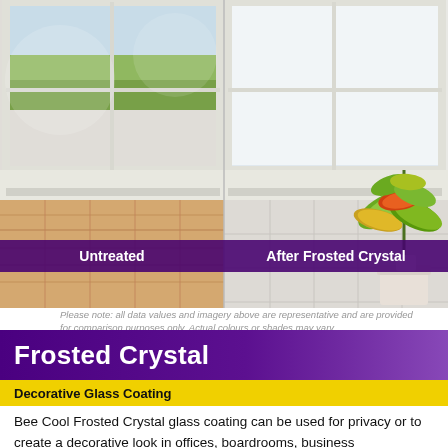[Figure (photo): Side-by-side comparison of a window: left half labeled 'Untreated' showing a clear view through the window, right half labeled 'After Frosted Crystal' showing frosted/privacy glass with a plant visible.]
Please note: all data values and imagery above are representative and are provided for comparison purposes only. Actual colours or shades may vary.
Frosted Crystal
Decorative Glass Coating
Bee Cool Frosted Crystal glass coating can be used for privacy or to create a decorative look in offices, boardrooms, business environments or in homes. Frosted crystal graphics has an etched glass look with a sparkle, while still letting large amounts of light